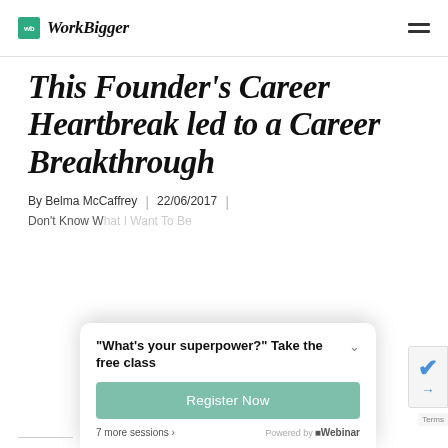WorkBigger
This Founder's Career Heartbreak led to a Career Breakthrough
By Belma McCaffrey | 22/06/2017 |
Don't Know What I Want To Be...
[Figure (screenshot): Popup widget: '"What's your superpower?" Take the free class' with a teal Register Now button, '7 more sessions >' link, and 'Powered by EZWebinar' footer.]